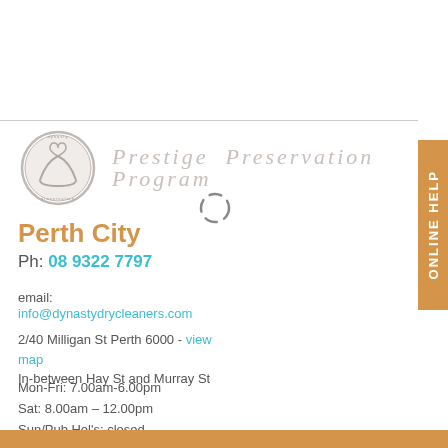[Figure (logo): Dynasty dry cleaners Prestige Preservation Program logo — circular emblem with stylized garment/hanger icon, beside italic text 'Prestige  Preservation  Program' in light grey]
Perth City
Ph: 08 9322 7797
email:
info@dynastydrycleaners.com
2/40 Milligan St Perth 6000 - view map
In-between Hay St and Murray St
Mon-Fri: 7.00am-6.00pm
Sat: 8.00am – 12.00pm
Sun/Pub Hol's: closed